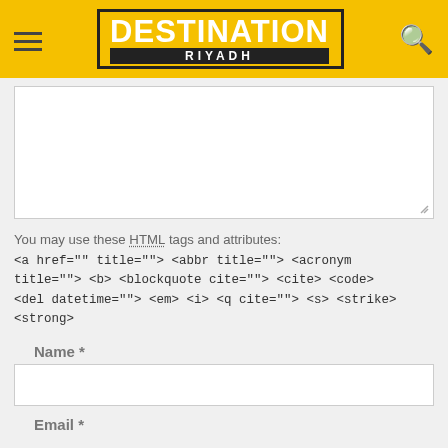DESTINATION RIYADH
[Figure (screenshot): Comment text area input box, empty, with resize handle at bottom right]
You may use these HTML tags and attributes:
<a href="" title=""> <abbr title=""> <acronym title=""> <b> <blockquote cite=""> <cite> <code> <del datetime=""> <em> <i> <q cite=""> <s> <strike> <strong>
Name *
[Figure (screenshot): Name input field, empty text box]
Email *